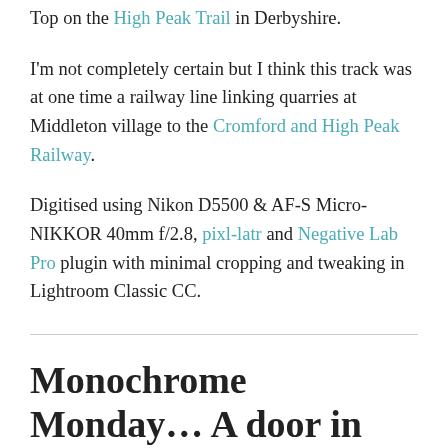Top on the High Peak Trail in Derbyshire.
I'm not completely certain but I think this track was at one time a railway line linking quarries at Middleton village to the Cromford and High Peak Railway.
Digitised using Nikon D5500 & AF-S Micro-NIKKOR 40mm f/2.8, pixl-latr and Negative Lab Pro plugin with minimal cropping and tweaking in Lightroom Classic CC.
Monochrome Monday… A door in the wood